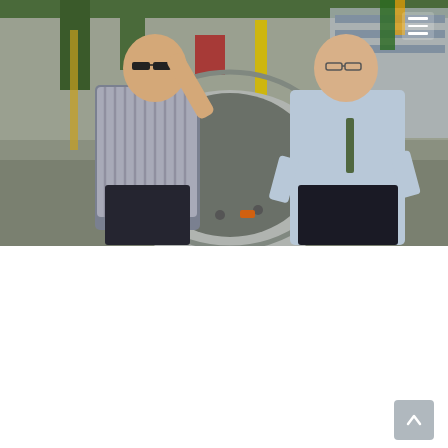[Figure (photo): Two men in business shirts standing in an industrial workshop, examining a large cylindrical metal fabrication piece. The man on the left wears sunglasses and a striped shirt and gestures toward equipment. The man on the right wears a light blue shirt and tie. Industrial machinery and green beams are visible in the background.]
Loganholme industry supports new Army trucks, trailers and modules
Media Releases · By Bert van Manen MP · 22 May, 2017
A local company in Loganholme has significantly contributed to a new generation of trucks, trailers and modules now being rolled out in the Australian